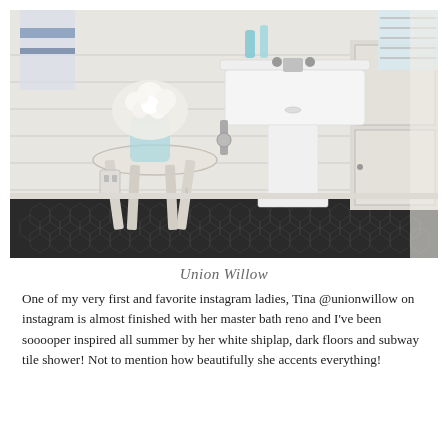[Figure (photo): A farmhouse-style bathroom with a white pedestal sink, white shiplap walls, black hexagon tile floor, a distressed white wooden stool with a blue mason jar holding white flowers, chrome faucets, and louvered window shutters letting in natural light.]
Union Willow
One of my very first and favorite instagram ladies, Tina @unionwillow on instagram is almost finished with her master bath reno and I’ve been sooooper inspired all summer by her white shiplap, dark floors and subway tile shower! Not to mention how beautifully she accents everything!